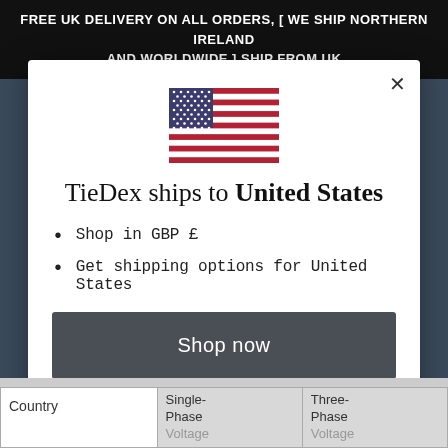FREE UK DELIVERY ON ALL ORDERS, [ WE SHIP NORTHERN IRELAND AND WORLDWIDE ] SHIP FROM UK
[Figure (illustration): US flag icon — SVG illustration of the United States flag with red and white stripes and blue canton with white stars]
TieDex ships to United States
Shop in GBP £
Get shipping options for United States
Shop now
Change shipping country
| Country | Single-Phase Voltage | Three-Phase Voltage |
| --- | --- | --- |